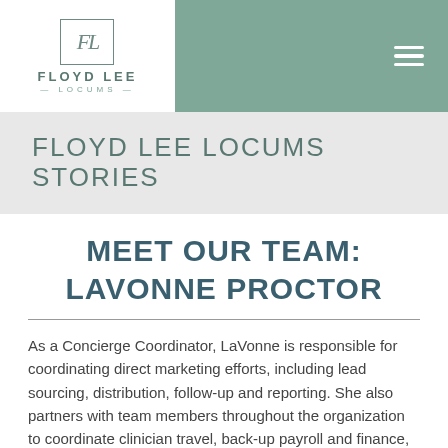[Figure (logo): Floyd Lee Locums logo: white box with FL monogram and text FLOYD LEE LOCUMS]
FLOYD LEE LOCUMS STORIES
MEET OUR TEAM:
LAVONNE PROCTOR
As a Concierge Coordinator, LaVonne is responsible for coordinating direct marketing efforts, including lead sourcing, distribution, follow-up and reporting. She also partners with team members throughout the organization to coordinate clinician travel, back-up payroll and finance, and support team training.